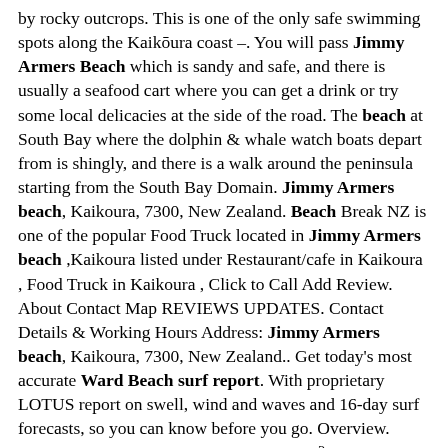by rocky outcrops. This is one of the only safe swimming spots along the Kaikōura coast –. You will pass Jimmy Armers Beach which is sandy and safe, and there is usually a seafood cart where you can get a drink or try some local delicacies at the side of the road. The beach at South Bay where the dolphin & whale watch boats depart from is shingly, and there is a walk around the peninsula starting from the South Bay Domain. Jimmy Armers beach, Kaikoura, 7300, New Zealand. Beach Break NZ is one of the popular Food Truck located in Jimmy Armers beach ,Kaikoura listed under Restaurant/cafe in Kaikoura , Food Truck in Kaikoura , Click to Call Add Review. About Contact Map REVIEWS UPDATES. Contact Details & Working Hours Address: Jimmy Armers beach, Kaikoura, 7300, New Zealand.. Get today's most accurate Ward Beach surf report. With proprietary LOTUS report on swell, wind and waves and 16-day surf forecasts, so you can know before you go. Overview. K'Orca Cottage By The Sea offers a 100 m² accommodation with a flat screen TV, a sundeck and a golf course. Point Kean Viewpoint is 10 minutes' drive and Kaikoura Marine Aquarium can be reached with a 5-minute drive. Get today's most accurate Jimmy Armers surf report. With proprietary LOTUS report on swell, wind and waves and 16-day surf forecasts, so you can know before you go. Jimmy Armers Beach. 2.8 mi. State Highway 1 Okiwi Bay - Half Moon Bay area. Ohau Stream Walk. 2000 ft. Street SH1. Maori Leap Cave. 2000 ft. 124/128 Beach Road. ... Little bit disappointed in design, had